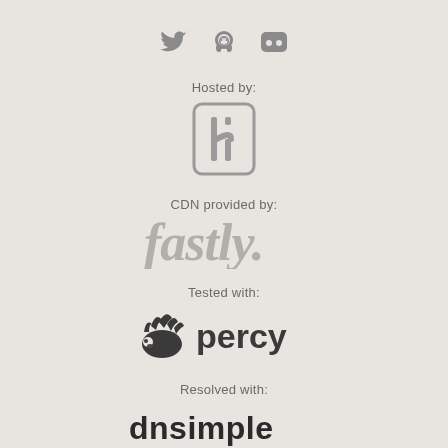[Figure (logo): Social media icons: Twitter bird, GitHub octocat, Discord logo — all in gray]
Hosted by:
[Figure (logo): Heroku logo — gray square with stylized 'h' mark]
CDN provided by:
[Figure (logo): Fastly logo — large gray italic text 'fastly.']
Tested with:
[Figure (logo): Percy logo — dark hedgehog illustration with 'percy' text]
Resolved with:
[Figure (logo): DNSimple logo — 'dnsimple' in dark bold text]